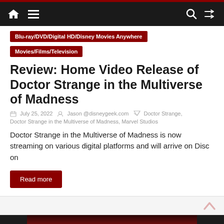Navigation bar with home, menu, search, and shuffle icons
Blu-ray/DVD/Digital HD/Disney Movies Anywhere
Movies/Films/Television
Review: Home Video Release of Doctor Strange in the Multiverse of Madness
July 25, 2022  Jason @disneygeek.com  Doctor Strange, Doctor Strange in the Multiverse of Madness, Marvel Studios
Doctor Strange in the Multiverse of Madness is now streaming on various digital platforms and will arrive on Disc on
Read more
[Figure (photo): Doctor Strange in the Multiverse of Madness movie title card/banner image at the bottom of the page]